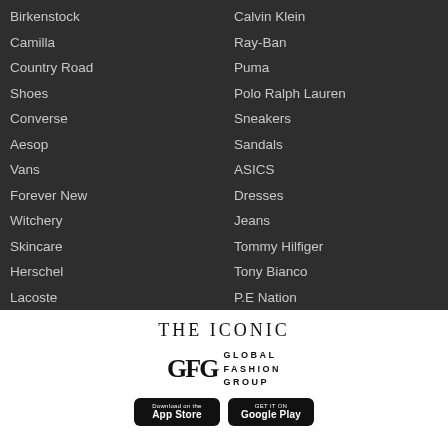Birkenstock
Camilla
Country Road
Shoes
Converse
Aesop
Vans
Forever New
Witchery
Skincare
Herschel
Lacoste
Calvin Klein
Ray-Ban
Puma
Polo Ralph Lauren
Sneakers
Sandals
ASICS
Dresses
Jeans
Tommy Hilfiger
Tony Bianco
P.E Nation
[Figure (logo): THE ICONIC text logo in serif font]
[Figure (logo): GFG Global Fashion Group logo with stylized GFG letters and text]
[Figure (screenshot): App Store and Google Play download buttons]